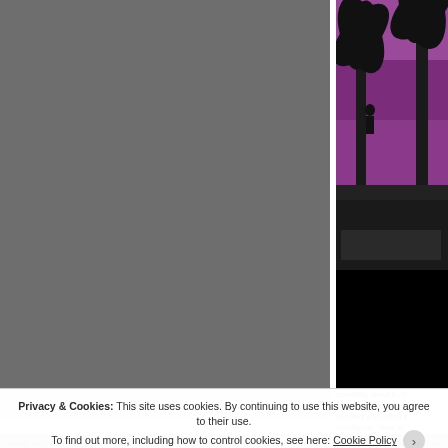[Figure (photo): Large gray-toned photo occupying left side of the page, possibly a torn or textured surface]
[Figure (photo): Photo on right side showing palm trees silhouetted against a purple/magenta sky, with dark lower portion]
sensibility about it—the voice as he yells the can take a lot out of a bloodsport: "Want to
Privacy & Cookies: This site uses cookies. By continuing to use this website, you agree to their use. To find out more, including how to control cookies, see here: Cookie Policy
Close and accept
READ THIS AD